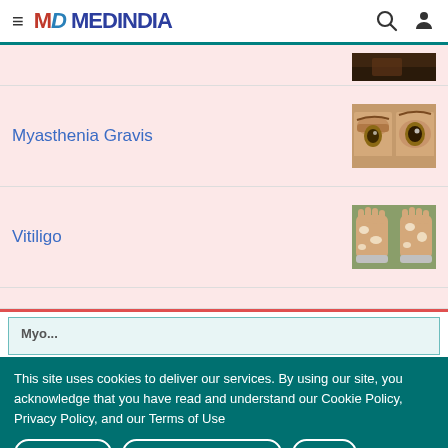MEDINDIA
Myasthenia Gravis
Vitiligo
[Figure (screenshot): Partial screenshot of a section header (partially visible)]
This site uses cookies to deliver our services. By using our site, you acknowledge that you have read and understand our Cookie Policy, Privacy Policy, and our Terms of Use
OK, I agree | No, give me more info | Close